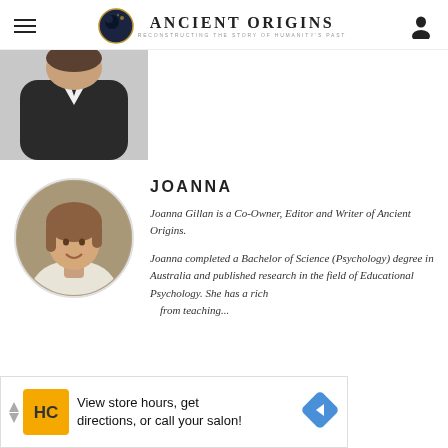Ancient Origins — Reconstructing the story of humanity's past
[Figure (photo): Partial photo of a person in a dark suit with white shirt, cropped at the top of the page]
JOANNA
[Figure (photo): Circular profile photo of Joanna Gillan, a woman with long brown hair, smiling]
Joanna Gillan is a Co-Owner, Editor and Writer of Ancient Origins.
Joanna completed a Bachelor of Science (Psychology) degree in Australia and published research in the field of Educational Psychology. She has a rich from teaching...
[Figure (other): Advertisement banner: HC logo, text 'View store hours, get directions, or call your salon!' with navigation arrow icon]